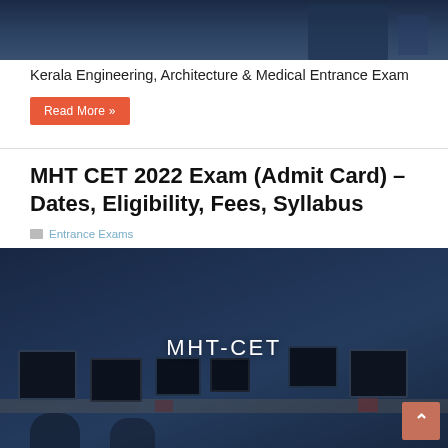[Figure (photo): Top portion of a photo, dark blue-toned background, appears to be a partial view of a person at a desk]
Kerala Engineering, Architecture & Medical Entrance Exam
Read More »
MHT CET 2022 Exam (Admit Card) – Dates, Eligibility, Fees, Syllabus
Entrance Exams
[Figure (photo): Computer lab with multiple desktop monitors on desks arranged in rows, dark blue overlay tint, with text MHT-CET overlaid in white]